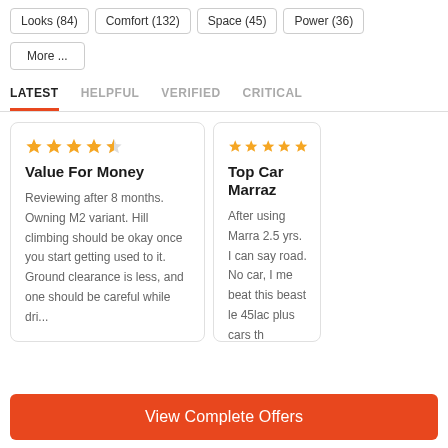Looks (84)
Comfort (132)
Space (45)
Power (36)
More ...
LATEST
HELPFUL
VERIFIED
CRITICAL
Value For Money
Reviewing after 8 months. Owning M2 variant. Hill climbing should be okay once you start getting used to it. Ground clearance is less, and one should be careful while dri...
Top Car Marraz
After using Marra 2.5 yrs. I can say road. No car, I me beat this beast le 45lac plus cars th
View Complete Offers